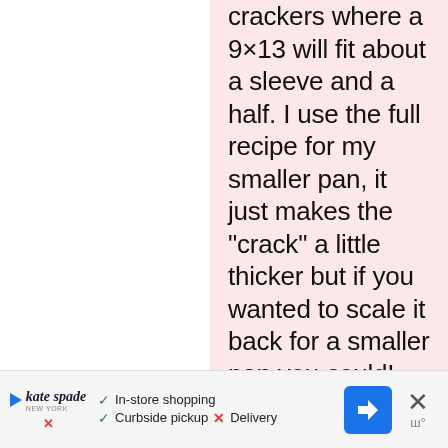crackers where a 9×13 will fit about a sleeve and a half. I use the full recipe for my smaller pan, it just makes the “crack” a little thicker but if you wanted to scale it back for a smaller pan you could! Let me know if you didn’t get the recipe
[Figure (screenshot): Advertisement banner for Kate Spade showing in-store shopping, curbside pickup, and delivery options with a blue navigation arrow icon and close button]